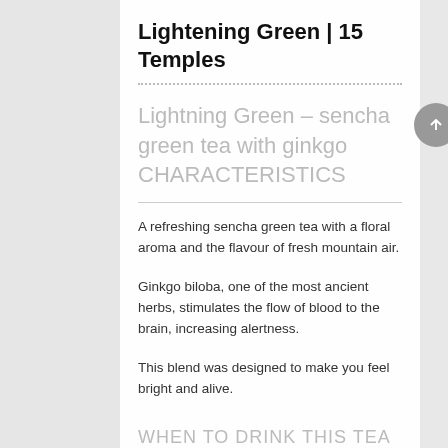Lightening Green | 15 Temples
Lightning Green – sencha green tea with ginkgo CHARACTERISTICS
A refreshing sencha green tea with a floral aroma and the flavour of fresh mountain air.
Ginkgo biloba, one of the most ancient herbs, stimulates the flow of blood to the brain, increasing alertness.
This blend was designed to make you feel bright and alive.
WHEN TO DRINK THIS TEA